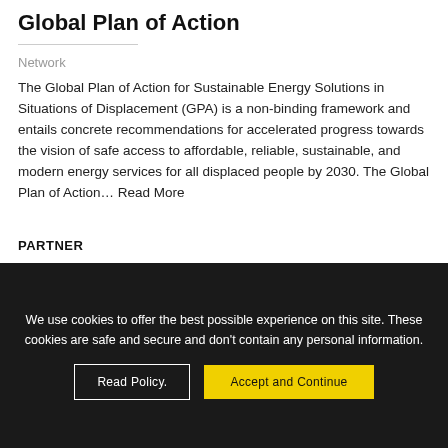Global Plan of Action
Network
The Global Plan of Action for Sustainable Energy Solutions in Situations of Displacement (GPA) is a non-binding framework and entails concrete recommendations for accelerated progress towards the vision of safe access to affordable, reliable, sustainable, and modern energy services for all displaced people by 2030. The Global Plan of Action… Read More
PARTNER
We use cookies to offer the best possible experience on this site. These cookies are safe and secure and don't contain any personal information.
Read Policy.
Accept and Continue